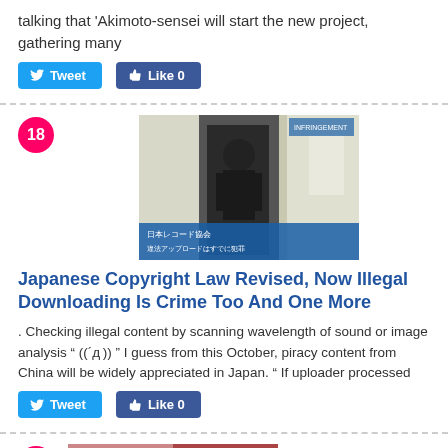talking that 'Akimoto-sensei will start the new project, gathering many
Tweet  Like 0
[Figure (photo): Person in black t-shirt standing in a corridor/office, with Japanese text overlay at bottom]
Japanese Copyright Law Revised, Now Illegal Downloading Is Crime Too And One More
. Checking illegal content by scanning wavelength of sound or image analysis " ((´д )) " I guess from this October, piracy content from China will be widely appreciated in Japan. " If uploader processed
Tweet  Like 0
[Figure (photo): Partial thumbnail of another article at bottom of page]